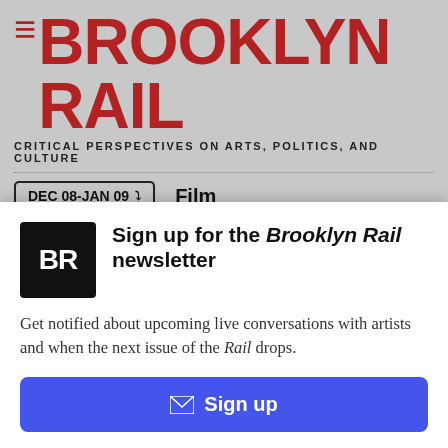THE BROOKLYN RAIL — CRITICAL PERSPECTIVES ON ARTS, POLITICS, AND CULTURE
DEC 08-JAN 09  Film
[Figure (screenshot): Brooklyn Rail article thumbnail with red diamond pattern background and Brooklyn Rail logo overlay, next to partial article title 'Hypnotized in Glo...' with a CLOSE X button]
Sign up for the Brooklyn Rail newsletter
Get notified about upcoming live conversations with artists and when the next issue of the Rail drops.
Sign up